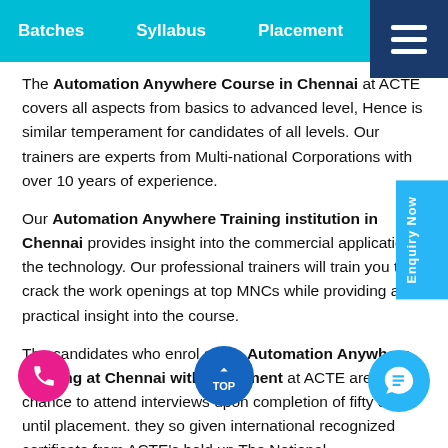Batches  Syllabus  Placement  La…
The Automation Anywhere Course in Chennai at ACTE covers all aspects from basics to advanced level, Hence is similar temperament for candidates of all levels. Our trainers are experts from Multi-national Corporations with over 10 years of experience.
Our Automation Anywhere Training institution in Chennai provides insight into the commercial applications the technology. Our professional trainers will train you to crack the work openings at top MNCs while providing a practical insight into the course.
The candidates who enrol at the Automation Anywhere Training at Chennai with Placement at ACTE are given a chance to attend interviews upon completion of fifty orse until placement. they so given international recognized certificate from ACTE's hold up The National